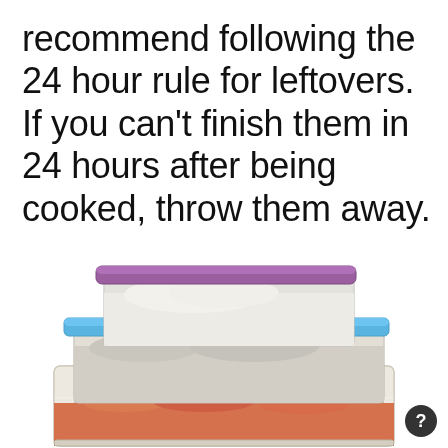recommend following the 24 hour rule for leftovers. If you can't finish them in 24 hours after being cooked, throw them away.
[Figure (photo): Three stacked plastic food storage containers: top one has a purple lid with white rice inside, middle one has a blue lid with food inside, and bottom one is open-top containing a red/orange sauce with food.]